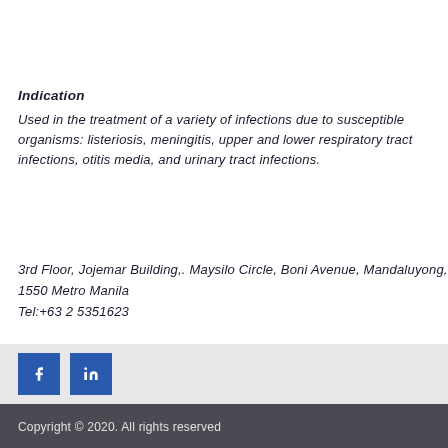Indication
Used in the treatment of a variety of infections due to susceptible organisms: listeriosis, meningitis, upper and lower respiratory tract infections, otitis media, and urinary tract infections.
3rd Floor, Jojemar Building,. Maysilo Circle, Boni Avenue, Mandaluyong, 1550 Metro Manila
Tel:+63 2 5351623
[Figure (other): Two blue social media icon buttons in a light gray footer bar]
Copyright © 2020. All rights reserved